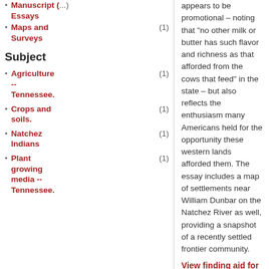Manuscript Essays (truncated at top)
Maps and Surveys (1)
Subject
Agriculture -- Tennessee. (1)
Crops and soils. (1)
Natchez Indians (1)
Plant growing media -- Tennessee. (1)
appears to be promotional – noting that "no other milk or butter has such flavor and richness as that afforded from the cows that feed" in the state – but also reflects the enthusiasm many Americans held for the opportunity these western lands afforded them. The essay includes a map of settlements near William Dunbar on the Natchez River as well, providing a snapshot of a recently settled frontier community.
View finding aid for a full description
| Field | Value |
| --- | --- |
| Call #: | Mss.917.68.N46 |
| Extent: | 1 volume(s) |
| Topics: | Exploration. | Land and Speculation | Surveying and Maps |
| Genre: | Manuscript Essays | Maps and Surveys |
| Subjects: | Agriculture |